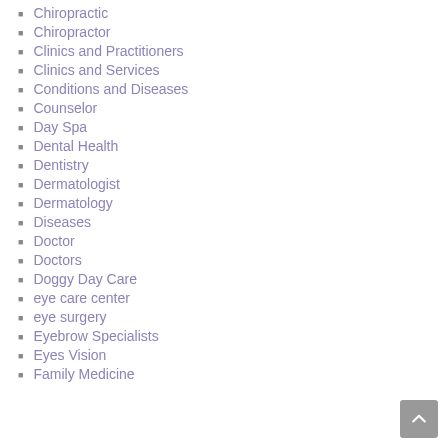Chiropractic
Chiropractor
Clinics and Practitioners
Clinics and Services
Conditions and Diseases
Counselor
Day Spa
Dental Health
Dentistry
Dermatologist
Dermatology
Diseases
Doctor
Doctors
Doggy Day Care
eye care center
eye surgery
Eyebrow Specialists
Eyes Vision
Family Medicine